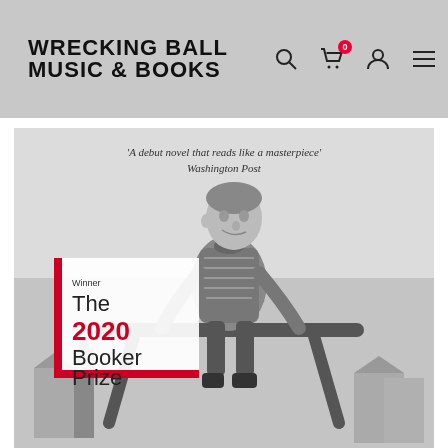WRECKING BALL MUSIC & BOOKS
[Figure (photo): Book cover of a 2020 Booker Prize winner showing a black and white photograph of a young boy sitting on a metal playground frame with houses in the background. Text reads: 'A debut novel that reads like a masterpiece' Washington Post. Winner The 2020 Booker Prize badge on lower left.]